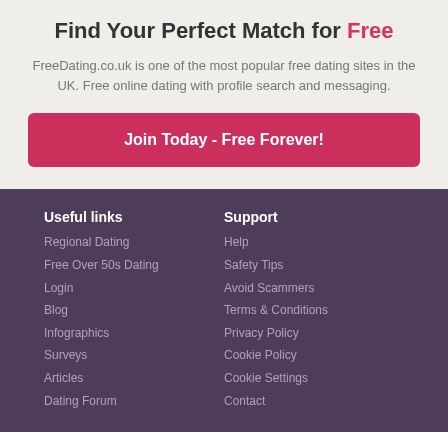Find Your Perfect Match for Free
FreeDating.co.uk is one of the most popular free dating sites in the UK. Free online dating with profile search and messaging.
Join Today - Free Forever!
Useful links
Regional Dating
Free Over 50s Dating
Login
Blog
Infographics
Surveys
Articles
Dating Forum
Support
Help
Safety Tips
Avoid Scammers
Terms & Conditions
Privacy Policy
Cookie Policy
Cookie Settings
Contact